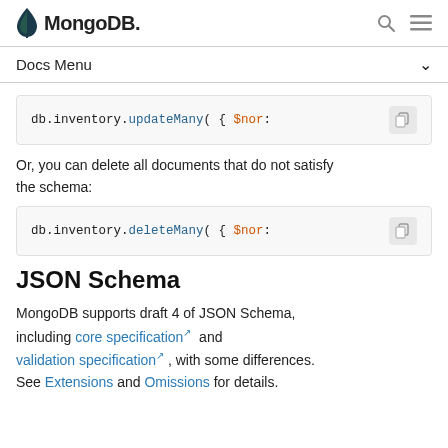MongoDB
Docs Menu
db.inventory.updateMany( { $nor:
Or, you can delete all documents that do not satisfy the schema:
db.inventory.deleteMany( { $nor:
JSON Schema
MongoDB supports draft 4 of JSON Schema, including core specification and validation specification , with some differences. See Extensions and Omissions for details.